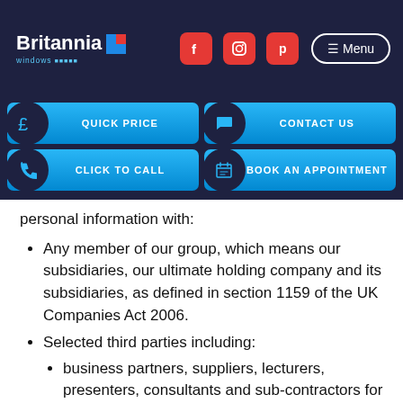[Figure (screenshot): Britannia Windows website header with logo, social media icons (Facebook, Instagram, Pinterest), and Menu button on dark navy background]
[Figure (screenshot): Website navigation buttons: Quick Price, Contact Us, Click to Call, Book an Appointment on dark navy background with cyan/blue gradient buttons]
personal information with:
Any member of our group, which means our subsidiaries, our ultimate holding company and its subsidiaries, as defined in section 1159 of the UK Companies Act 2006.
Selected third parties including:
business partners, suppliers, lecturers, presenters, consultants and sub-contractors for the performance of any contract we enter into